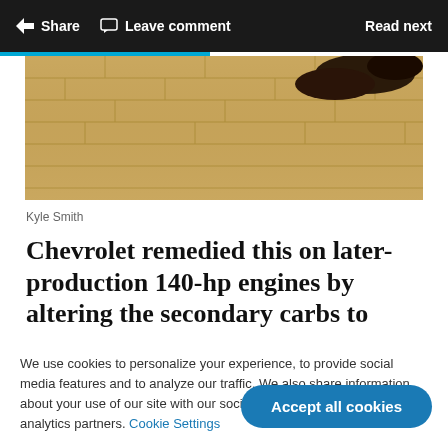Share  Leave comment  Read next
[Figure (photo): Partial view of hardwood floor with dark shoes visible at the top right corner]
Kyle Smith
Chevrolet remedied this on later-production 140-hp engines by altering the secondary carbs to
We use cookies to personalize your experience, to provide social media features and to analyze our traffic. We also share information about your use of our site with our social media, advertising and analytics partners. Cookie Settings
Accept all cookies